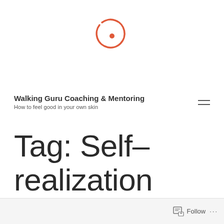[Figure (logo): Circular logo with coral/orange outer ring (open at top-left) and a small filled dot in the center, rendered in coral/orange color]
Walking Guru Coaching & Mentoring
How to feel good in your own skin
Tag: Self-realization
Follow ...